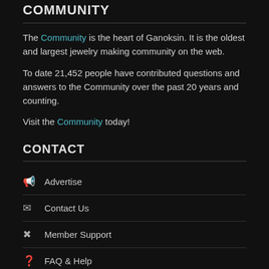COMMUNITY
The Community is the heart of Ganoksin. It is the oldest and largest jewelry making community on the web.
To date 21,452 people have contributed questions and answers to the Community over the past 20 years and counting.
Visit the Community today!
CONTACT
Advertise
Contact Us
Member Support
FAQ & Help